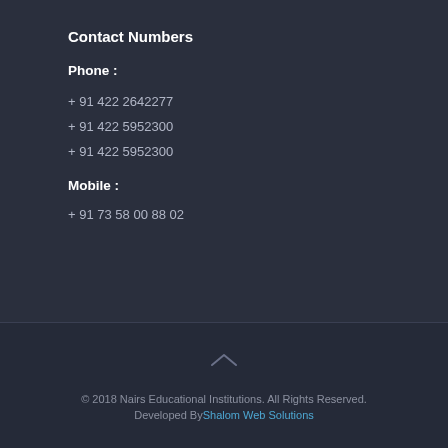Contact Numbers
Phone :
+ 91 422 2642277
+ 91 422 5952300
+ 91 422 5952300
Mobile :
+ 91 73 58 00 88 02
© 2018 Nairs Educational Institutions. All Rights Reserved. Developed By Shalom Web Solutions